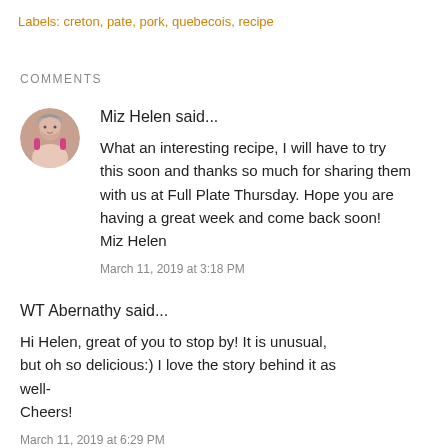Labels: creton, pate, pork, quebecois, recipe
COMMENTS
[Figure (photo): Circular avatar photo of Miz Helen, a woman with gray/white hair]
Miz Helen said...
What an interesting recipe, I will have to try this soon and thanks so much for sharing them with us at Full Plate Thursday. Hope you are having a great week and come back soon!
Miz Helen
March 11, 2019 at 3:18 PM
WT Abernathy said...
Hi Helen, great of you to stop by! It is unusual, but oh so delicious:) I love the story behind it as well-
Cheers!
March 11, 2019 at 6:29 PM